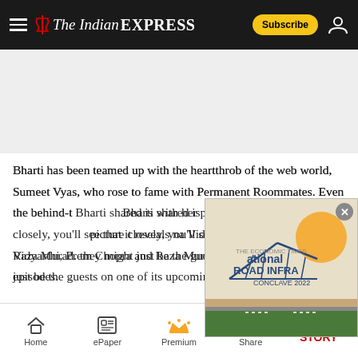The Indian Express
[Figure (other): Gray advertisement placeholder banner]
Bharti has been teamed up with the heartthrob of the web world, Sumeet Vyas, who rose to fame with Permanent Roommates. Even the behind-the-scenes Bharti shared is with her partner Sumeet. If you look at the picture closely, you'll see that it reveals names like Vidyarthi, Prem Chopra and Raza Murad. Looks like they might just be the guests on one of its upcoming episodes.
[Figure (other): National Road Infra Conclave 2022 advertisement with bridge and road imagery]
Home | ePaper | Premium | Share | NEXT STORY